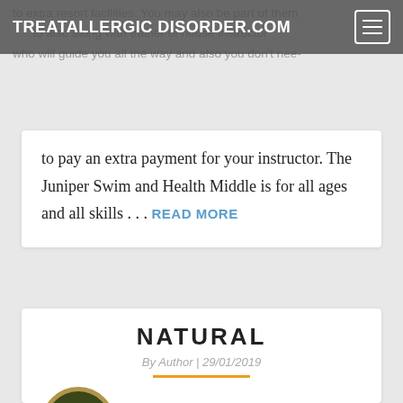TREATALLERGIC DISORDER.COM
to extra resort facilities. You may also be part of them to also along with trainer of house instructor who will guide you all the way and also you don't nee to pay an extra payment for your instructor. The Juniper Swim and Health Middle is for all ages and all skills . . . READ MORE
NATURAL
By Author | 29/01/2019
[Figure (illustration): Organic food label badges and an organic labels collection banner]
It is odd that